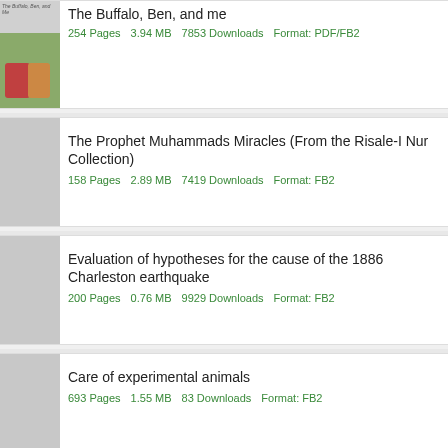The Buffalo, Ben, and Me
254 Pages  3.94 MB  7853 Downloads  Format: PDF/FB2
The Prophet Muhammads Miracles (From the Risale-I Nur Collection)
158 Pages  2.89 MB  7419 Downloads  Format: FB2
Evaluation of hypotheses for the cause of the 1886 Charleston earthquake
200 Pages  0.76 MB  9929 Downloads  Format: FB2
Care of experimental animals
693 Pages  1.55 MB  83 Downloads  Format: FB2